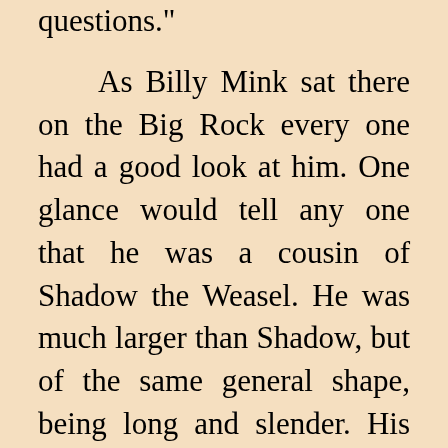questions." As Billy Mink sat there on the Big Rock every one had a good look at him. One glance would tell any one that he was a cousin of Shadow the Weasel. He was much larger than Shadow, but of the same general shape, being long and slender. His coat was a beautiful dark brown, darkest on the back. His chin was white. His tail was round, covered with fairly